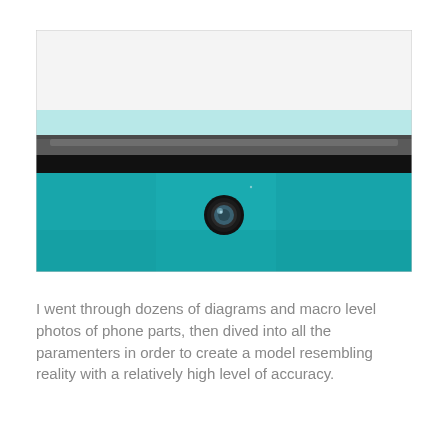[Figure (photo): Macro close-up photo of a smartphone top edge, showing the top portion (white/silver bezel), a thin light-blue glass layer, a dark metallic speaker/sensor bar, a thick black band, and below that the teal/turquoise back panel with a circular camera lens in the center.]
I went through dozens of diagrams and macro level photos of phone parts, then dived into all the paramenters in order to create a model resembling reality with a relatively high level of accuracy.